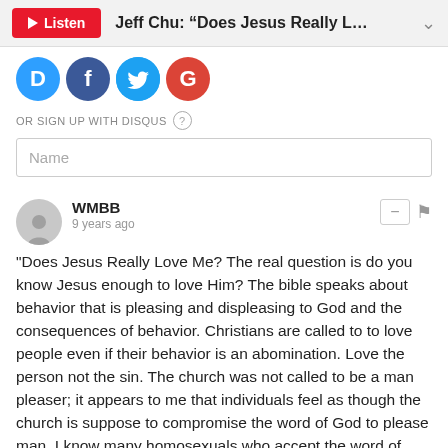Jeff Chu: “Does Jesus Really L…
[Figure (other): Social login icons: Disqus (D), Facebook (f), Twitter bird, Google (G)]
OR SIGN UP WITH DISQUS
Name
WMBB
9 years ago
"Does Jesus Really Love Me? The real question is do you know Jesus enough to love Him? The bible speaks about behavior that is pleasing and displeasing to God and the consequences of behavior. Christians are called to to love people even if their behavior is an abomination. Love the person not the sin. The church was not called to be a man pleaser; it appears to me that individuals feel as though the church is suppose to compromise the word of God to please man. I know many homosexuals who accept the word of God and know that their behavior is not acceptable in the eyes of God, therefore they do not try to justify their behavior.